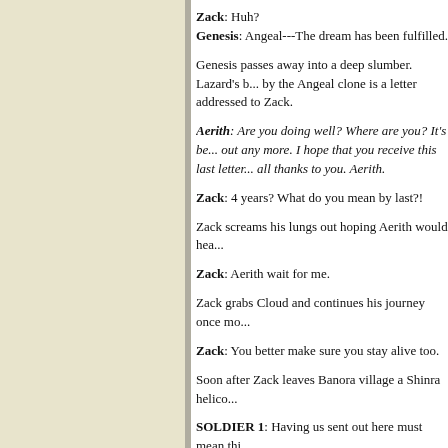Zack: Huh?
Genesis: Angeal---The dream has been fulfilled.
Genesis passes away into a deep slumber. Lazard's b... by the Angeal clone is a letter addressed to Zack.
Aerith: Are you doing well? Where are you? It's be... out any more. I hope that you receive this last letter... all thanks to you. Aerith.
Zack: 4 years? What do you mean by last?!
Zack screams his lungs out hoping Aerith would hea...
Zack: Aerith wait for me.
Zack grabs Cloud and continues his journey once mo...
Zack: You better make sure you stay alive too.
Soon after Zack leaves Banora village a Shinra helico...
SOLDIER 1: Having us sent out here must mean thi...
SOLDIER 2: It seems it has something to do with o...
SOLDIER 1: Is that so? However will he---
SOLDIER 2: ---agree to join us?
One of the unknown SOLDIERs takes Genesis's into...